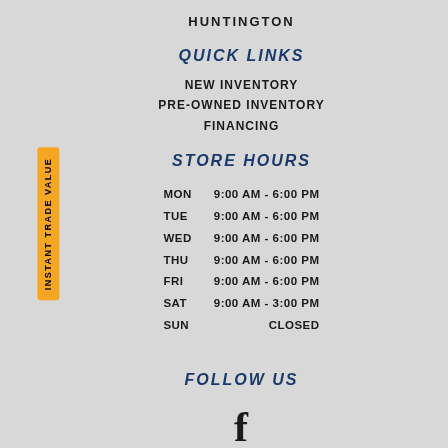HUNTINGTON
QUICK LINKS
NEW INVENTORY
PRE-OWNED INVENTORY
FINANCING
STORE HOURS
| Day | Hours |
| --- | --- |
| MON | 9:00 AM - 6:00 PM |
| TUE | 9:00 AM - 6:00 PM |
| WED | 9:00 AM - 6:00 PM |
| THU | 9:00 AM - 6:00 PM |
| FRI | 9:00 AM - 6:00 PM |
| SAT | 9:00 AM - 3:00 PM |
| SUN | CLOSED |
FOLLOW US
[Figure (logo): Facebook logo icon (letter f)]